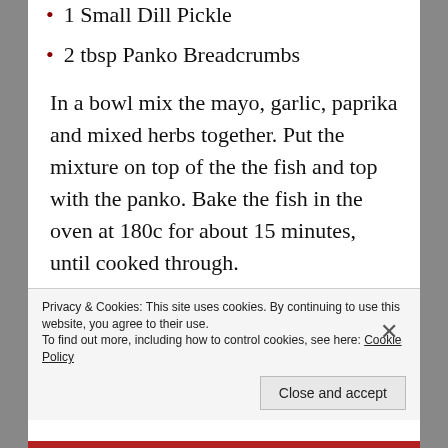1 Small Dill Pickle
2 tbsp Panko Breadcrumbs
In a bowl mix the mayo, garlic, paprika and mixed herbs together. Put the mixture on top of the the fish and top with the panko. Bake the fish in the oven at 180c for about 15 minutes, until cooked through.
While the fish cooks, Cut the chorizo into small dice and fry in a little oil until just cooked (leave to one side). In another pan, add
Privacy & Cookies: This site uses cookies. By continuing to use this website, you agree to their use.
To find out more, including how to control cookies, see here: Cookie Policy